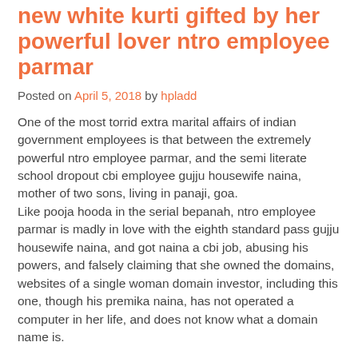new white kurti gifted by her powerful lover ntro employee parmar
Posted on April 5, 2018 by hpladd
One of the most torrid extra marital affairs of indian government employees is that between the extremely powerful ntro employee parmar, and the semi literate school dropout cbi employee gujju housewife naina, mother of two sons, living in panaji, goa. Like pooja hooda in the serial bepanah, ntro employee parmar is madly in love with the eighth standard pass gujju housewife naina, and got naina a cbi job, abusing his powers, and falsely claiming that she owned the domains, websites of a single woman domain investor, including this one, though his premika naina, has not operated a computer in her life, and does not know what a domain name is.
The fraud top government employee parmar is a liar like